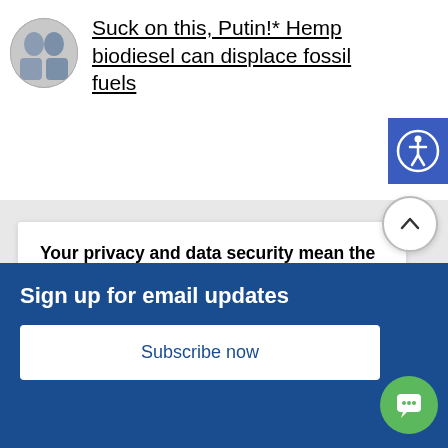[Figure (photo): Small circular logo/avatar image showing two people]
Suck on this, Putin!* Hemp biodiesel can displace fossil fuels
[Figure (logo): Accessibility icon button - blue square with white person/wheelchair symbol]
Your privacy and data security mean the world to us
We use cookies on our website to give you the most relevant experience by remembering your preferences and repeat visits, and for data analytics. By clicking “Accept”, you consent to the use of all the cookies. TOP TIP: Try dunking your cookies in hemp milk. Yum!
Sign up for email updates
Subscribe now